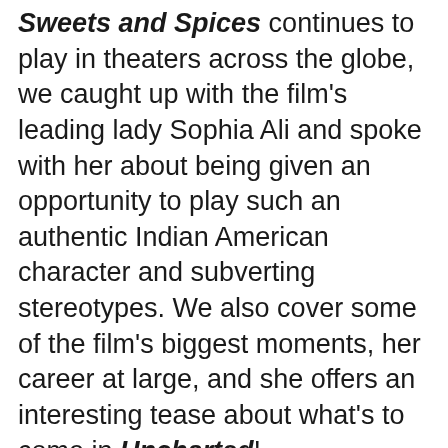As Director Shree's family comedy film Sweets and Spices continues to play in theaters across the globe, we caught up with the film's leading lady Sophia Ali and spoke with her about being given an opportunity to play such an authentic Indian American character and subverting stereotypes. We also cover some of the film's biggest moments, her career at large, and she offers an interesting tease about what's to come in Uncharted!
The film tells the story of Alia Kapur (Sophia Ali), who returns to her family's posh suburban New Jersey home after a year away at college and upends their well-ordered life with her brash independence. After befriending Varun (Rish Shah), the handsome son of the new owners of the local